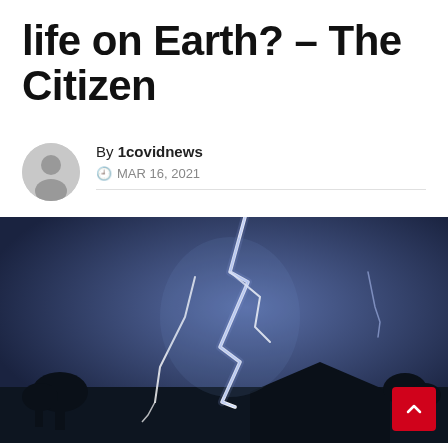life on Earth? – The Citizen
By 1covidnews
MAR 16, 2021
[Figure (photo): A dramatic nighttime photograph of multiple lightning bolts striking near a residential area with silhouetted trees and rooftops against a dark blue-purple stormy sky.]